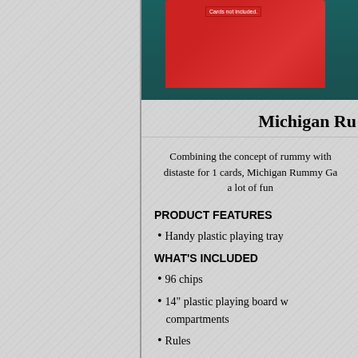[Figure (photo): Product image of Michigan Rummy game box on teal background, with a red game board visible. Small text reads 'Cards not included.']
Michigan Ru...
Combining the concept of rummy with distaste for 1 cards, Michigan Rummy Ga... a lot of fu...
PRODUCT FEATURES
Handy plastic playing tray...
WHAT'S INCLUDED
96 chips
14" plastic playing board w... compartments
Rules
WHAT'S NOT INCLUDED
Playing cards